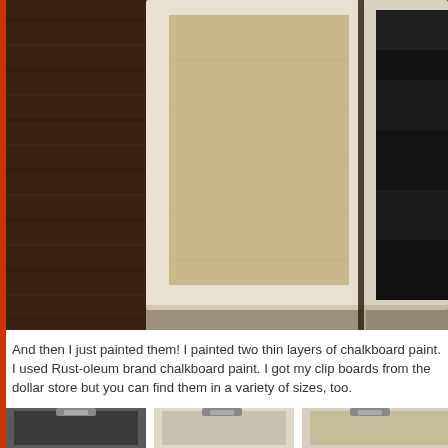[Figure (photo): Close-up photo of two clipboards on a dark wooden surface. The left clipboard has a beige/kraft colored unpainted surface with white/cream border frame, and the right clipboard shows black chalkboard paint applied to it.]
And then I just painted them! I painted two thin layers of chalkboard paint. I used Rust-oleum brand chalkboard paint. I got my clip boards from the dollar store but you can find them in a variety of sizes, too.
[Figure (photo): Bottom portion of a photo showing clipboards laid out, partially cropped.]